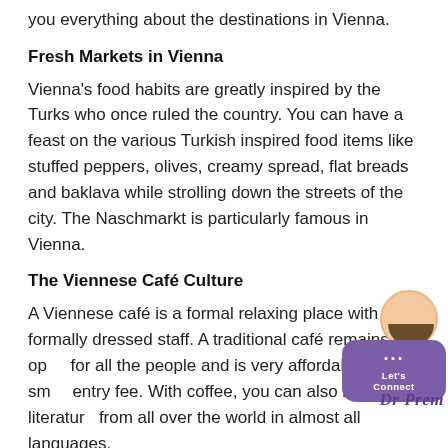you everything about the destinations in Vienna.
Fresh Markets in Vienna
Vienna's food habits are greatly inspired by the Turks who once ruled the country. You can have a feast on the various Turkish inspired food items like stuffed peppers, olives, creamy spread, flat breads and baklava while strolling down the streets of the city. The Naschmarkt is particularly famous in Vienna.
The Viennese Café Culture
A Viennese café is a formal relaxing place with formally dressed staff. A traditional café remains open for all the people and is very affordable with a small entry fee. With coffee, you can also read literature from all over the world in almost all languages.
[Figure (illustration): Dr Prem logo with illustrated character and speech bubble saying Let's Connect]
Vienna Museums